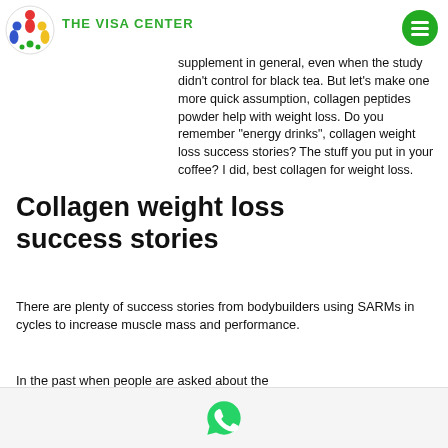THE VISA CENTER
magic herb – and green tea can have the same effects as black tea, which is why green tea might be a great choice as a weight loss supplement in general, even when the study didn't control for black tea. But let's make one more quick assumption, collagen peptides powder help with weight loss. Do you remember "energy drinks", collagen weight loss success stories? The stuff you put in your coffee? I did, best collagen for weight loss.
Collagen weight loss success stories
There are plenty of success stories from bodybuilders using SARMs in cycles to increase muscle mass and performance.
In the past when people are asked about the